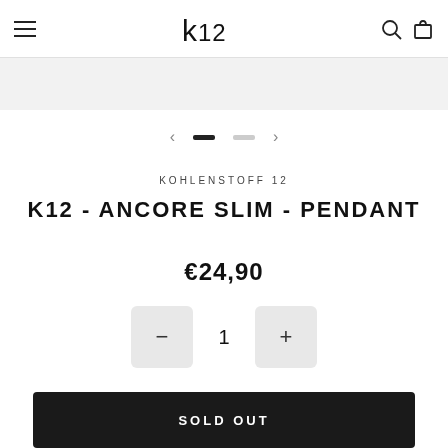K12 navigation header with logo, menu, search, and cart icons
KOHLENSTOFF 12
K12 - ANCORE SLIM - PENDANT
€24,90
1
SOLD OUT